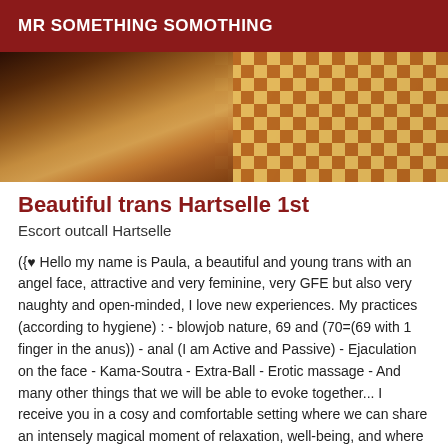MR SOMETHING SOMOTHING
[Figure (photo): Partial photo of a person lying down, with a colorful geometric patterned fabric/background visible on the right side]
Beautiful trans Hartselle 1st
Escort outcall Hartselle
({{♥ Hello my name is Paula, a beautiful and young trans with an angel face, attractive and very feminine, very GFE but also very naughty and open-minded, I love new experiences. My practices (according to hygiene) : - blowjob nature, 69 and (70=(69 with 1 finger in the anus)) - anal (I am Active and Passive) - Ejaculation on the face - Kama-Soutra - Extra-Ball - Erotic massage - And many other things that we will be able to evoke together... I receive you in a cosy and comfortable setting where we can share an intensely magical moment of relaxation, well-being, and where I can